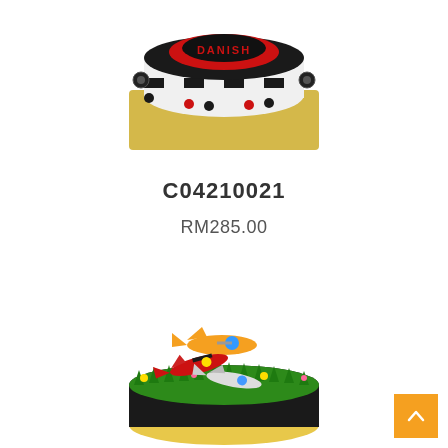[Figure (photo): A black and red racing-themed birthday cake with the name DANISH on it, decorated with checkered pattern and small black and white balls, on a gold board.]
C04210021
RM285.00
[Figure (photo): A round birthday cake decorated with Disney Planes characters (colorful toy planes) on top of green grass-like decoration with flowers.]